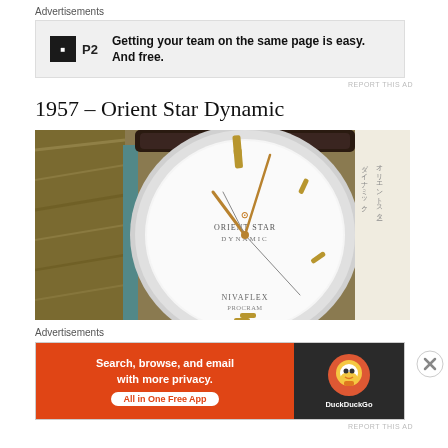Advertisements
[Figure (infographic): P2 advertisement banner: P2 logo on left, bold text reading 'Getting your team on the same page is easy. And free.']
REPORT THIS AD
1957 – Orient Star Dynamic
[Figure (photo): Close-up photograph of an Orient Star Dynamic watch face showing the white dial with gold hour markers and hands, Orient Star Dynamic logo, and Nivaflex text at bottom. Dark leather strap visible at top.]
Advertisements
[Figure (infographic): DuckDuckGo advertisement: orange section with text 'Search, browse, and email with more privacy. All in One Free App' and DuckDuckGo logo on dark right panel.]
REPORT THIS AD